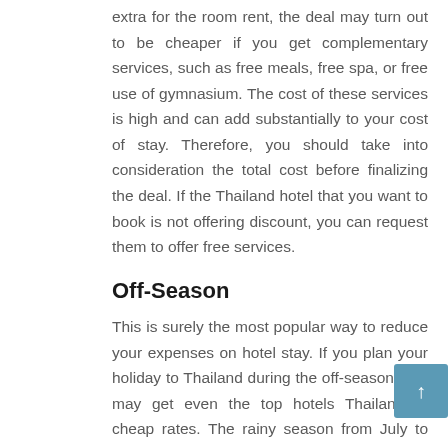extra for the room rent, the deal may turn out to be cheaper if you get complementary services, such as free meals, free spa, or free use of gymnasium. The cost of these services is high and can add substantially to your cost of stay. Therefore, you should take into consideration the total cost before finalizing the deal. If the Thailand hotel that you want to book is not offering discount, you can request them to offer free services.
Off-Season
This is surely the most popular way to reduce your expenses on hotel stay. If you plan your holiday to Thailand during the off-season, you may get even the top hotels Thailand at cheap rates. The rainy season from July to October, is the lean tourist time in Thailand. You may even get discounts if you book Thailand hotels for weekdays, instead of weekends, when local tourists throng the places and the demand for hotels goes up